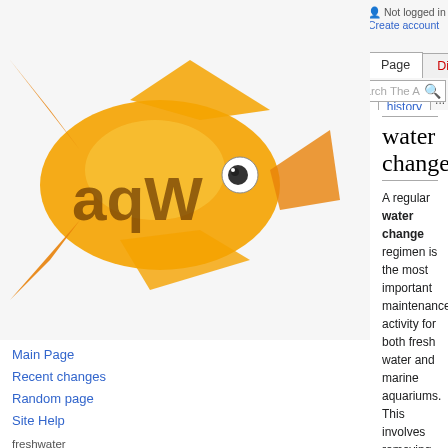Not logged in  Talk  Contributions  Create account  Log in
Page  Discussion  Edit  Edit source  View history  Search The A
[Figure (logo): Aquarium Wiki fish logo with 'aqW' text, orange goldfish illustration]
Water change
A regular water change regimen is the most important maintenance activity for both fresh water and marine aquariums. This involves removing and discarding some of the tank's water, and replacing it with appropriately conditioned clean water.
Minimum recommendations are 10% a week for fresh water or brackish tanks, and 25% monthly for marine aquaria. More is generally better.
Contents
Main Page
Recent changes
Random page
Site Help
freshwater
Fish
Plants
Invertebrates
Amphibians
Turtles & Terrapins
saltwater
Fish